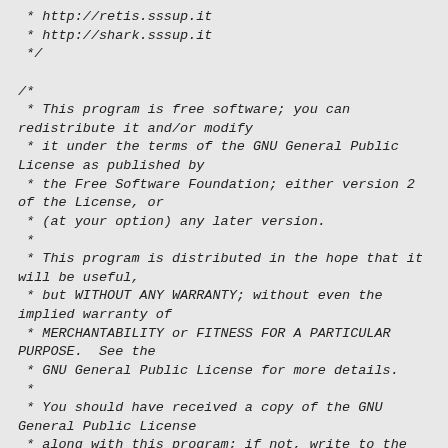* http://retis.sssup.it
 * http://shark.sssup.it
 */

/*
 * This program is free software; you can redistribute it and/or modify
 * it under the terms of the GNU General Public License as published by
 * the Free Software Foundation; either version 2 of the License, or
 * (at your option) any later version.
 *
 * This program is distributed in the hope that it will be useful,
 * but WITHOUT ANY WARRANTY; without even the implied warranty of
 * MERCHANTABILITY or FITNESS FOR A PARTICULAR PURPOSE.  See the
 * GNU General Public License for more details.
 *
 * You should have received a copy of the GNU General Public License
 * along with this program; if not, write to the Free Software
 * Foundation, Inc., 59 Temple Place, Suite 330,
   Boston, MA  02111-1307  USA